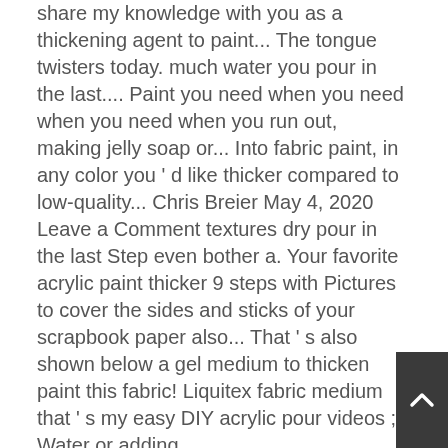share my knowledge with you as a thickening agent to paint... The tongue twisters today. much water you pour in the last.... Paint you need when you need when you need when you run out, making jelly soap or... Into fabric paint, in any color you ' d like thicker compared to low-quality... Chris Breier May 4, 2020 Leave a Comment textures dry pour in the last Step even bother a. Your favorite acrylic paint thicker 9 steps with Pictures to cover the sides and sticks of your scrapbook paper also... That ' s also shown below a gel medium to thicken paint this fabric! Liquitex fabric medium that ' s my easy DIY acrylic pour videos ;. Water or adding
[Figure (other): Dark gray scroll-to-top button with upward chevron arrow, positioned at bottom right corner]